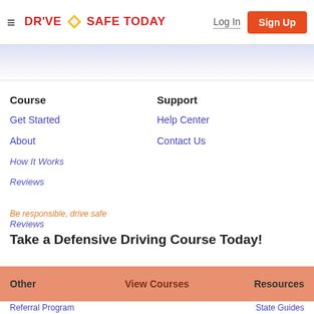DR'VE SAFE TODAY | Log In | Sign Up
Course
Get Started
About
How It Works
Reviews
Support
Help Center
Contact Us
Be responsible, drive safe
Take a Defensive Driving Course Today!
Other
View Courses
Resources
Referral Program
State Guides